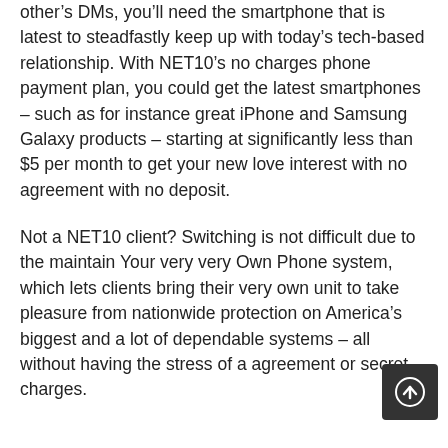other’s DMs, you’ll need the smartphone that is latest to steadfastly keep up with today’s tech-based relationship. With NET10’s no charges phone payment plan, you could get the latest smartphones – such as for instance great iPhone and Samsung Galaxy products – starting at significantly less than $5 per month to get your new love interest with no agreement with no deposit.
Not a NET10 client? Switching is not difficult due to the maintain Your very very Own Phone system, which lets clients bring their very own unit to take pleasure from nationwide protection on America’s biggest and a lot of dependable systems – all without having the stress of a agreement or secret charges.
[Figure (other): Scroll-to-top circular arrow button icon on dark background]